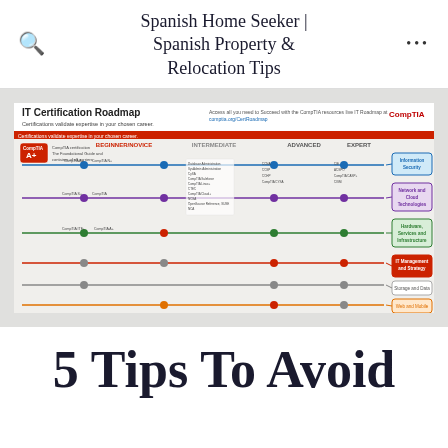Spanish Home Seeker | Spanish Property & Relocation Tips
[Figure (infographic): IT Certification Roadmap by CompTIA showing certification paths from Beginner/Novice through Intermediate, Advanced, and Expert levels, organized by categories: Information Security, Network and Cloud Technologies, Hardware Services and Infrastructure, IT Management and Strategy, Storage and Data, Web and Mobile.]
5 Tips To Avoid